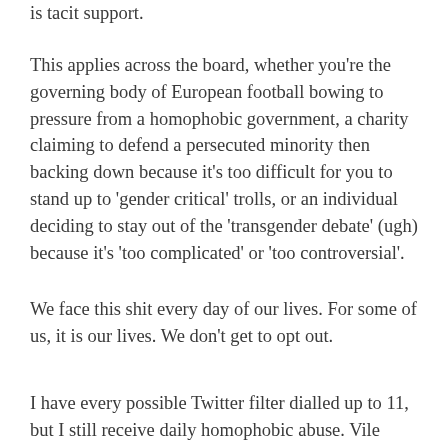is tacit support.
This applies across the board, whether you're the governing body of European football bowing to pressure from a homophobic government, a charity claiming to defend a persecuted minority then backing down because it's too difficult for you to stand up to 'gender critical' trolls, or an individual deciding to stay out of the 'transgender debate' (ugh) because it's 'too complicated' or 'too controversial'.
We face this shit every day of our lives. For some of us, it is our lives. We don't get to opt out.
I have every possible Twitter filter dialled up to 11, but I still receive daily homophobic abuse. Vile